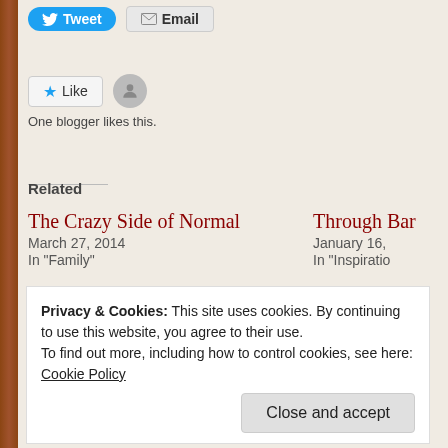[Figure (screenshot): Twitter Tweet button (blue) and Email button (grey)]
[Figure (screenshot): Like button with star icon and user avatar. Text: One blogger likes this.]
Related
The Crazy Side of Normal
March 27, 2014
In "Family"
Through Bar...
January 16, ...
In "Inspiratio...
Empty Nests Are For The Birds
October 17, 2017
In "Family"
Privacy & Cookies: This site uses cookies. By continuing to use this website, you agree to their use.
To find out more, including how to control cookies, see here: Cookie Policy
Close and accept